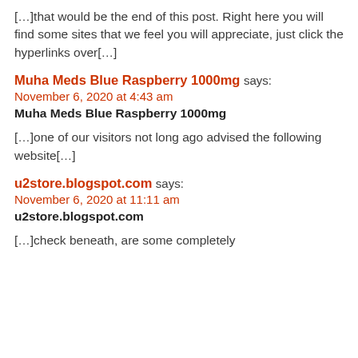[…]that would be the end of this post. Right here you will find some sites that we feel you will appreciate, just click the hyperlinks over[…]
Muha Meds Blue Raspberry 1000mg says: November 6, 2020 at 4:43 am
Muha Meds Blue Raspberry 1000mg
[…]one of our visitors not long ago advised the following website[…]
u2store.blogspot.com says: November 6, 2020 at 11:11 am
u2store.blogspot.com
[…]check beneath, are some completely